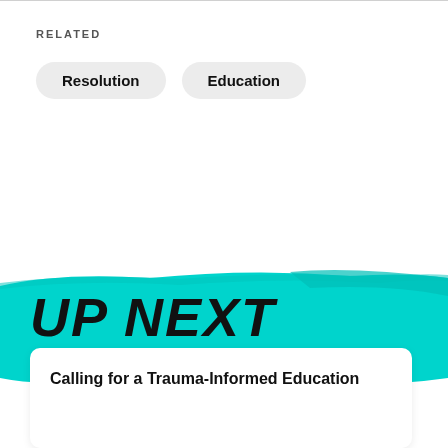RELATED
Resolution
Education
[Figure (other): Teal brush-stroke background banner with hand-lettered 'UP NEXT' text in bold black italic font]
Calling for a Trauma-Informed Education